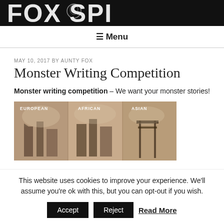[Figure (logo): Fox Spirit logo banner in black and white with stylized fox head graphic]
≡ Menu
MAY 10, 2017 BY AUNTY FOX
Monster Writing Competition
Monster writing competition – We want your monster stories!
[Figure (illustration): Three panel artistic illustration labeled EUROPEAN, AFRICAN, ASIAN showing ruined/atmospheric landscapes]
This website uses cookies to improve your experience. We'll assume you're ok with this, but you can opt-out if you wish.
Accept  Reject  Read More